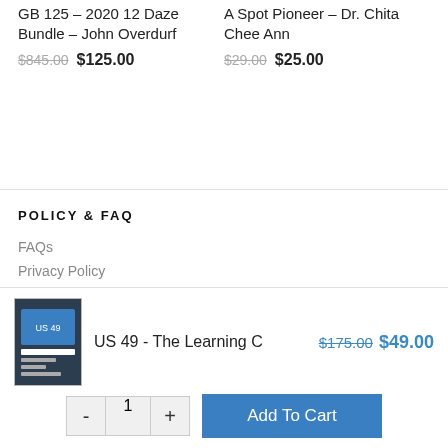GB 125 – 2020 12 Daze Bundle – John Overdurf
$845.00 $125.00
A Spot Pioneer – Dr. Chita Chee Ann
$29.00 $25.00
POLICY & FAQ
FAQs
Privacy Policy
Cookie Policy
US 49 - The Learning C
$175.00 $49.00
- 1 + Add To Cart